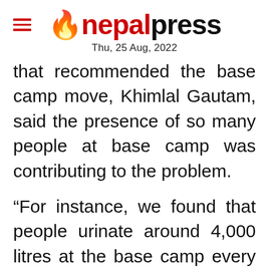nepalpress — Thu, 25 Aug, 2022
that recommended the base camp move, Khimlal Gautam, said the presence of so many people at base camp was contributing to the problem.
“For instance, we found that people urinate around 4,000 litres at the base camp every day,” he said.
“And the massive amount of fuels